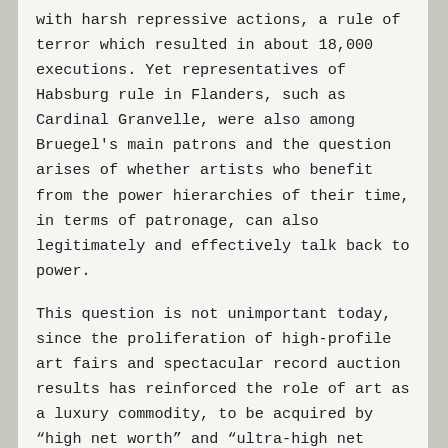with harsh repressive actions, a rule of terror which resulted in about 18,000 executions. Yet representatives of Habsburg rule in Flanders, such as Cardinal Granvelle, were also among Bruegel's main patrons and the question arises of whether artists who benefit from the power hierarchies of their time, in terms of patronage, can also legitimately and effectively talk back to power.
This question is not unimportant today, since the proliferation of high-profile art fairs and spectacular record auction results has reinforced the role of art as a luxury commodity, to be acquired by “high net worth” and “ultra-high net